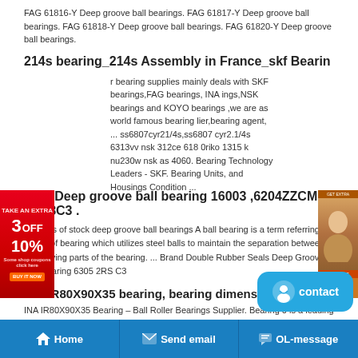FAG 61816-Y Deep groove ball bearings. FAG 61817-Y Deep groove ball bearings. FAG 61818-Y Deep groove ball bearings. FAG 61820-Y Deep groove ball bearings.
214s bearing_214s Assembly in France_skf Bearin
[Figure (advertisement): Red advertisement banner on left side with '3OFF 10%' text and orange buy button. Brown/orange advertisement banner on right side with a woman's photo.]
r bearing supplies mainly deals with SKF bearings,FAG bearings, INA ings,NSK bearings and KOYO bearings ,we are as world famous bearing lier,bearing agent, ... ss6807cyr21/4s,ss6807 cyr2.1/4s 6313vv nsk 312ce 618 0riko 1315 k nu230w nsk as 4060. Bearing Technology Leaders - SKF. Bearing Units, and Housings Condition ...
NSK Deep groove ball bearing 16003 ,6204ZZCM ,6008C3 .
All kinds of stock deep groove ball bearings A ball bearing is a term referring to a type of bearing which utilizes steel balls to maintain the separation between the moving parts of the bearing. ... Brand Double Rubber Seals Deep Groove Ball Bearing 6305 2RS C3
INA IR80X90X35 bearing, bearing dimensions-80mm**
INA IR80X90X35 Bearing – Ball Roller Bearings Supplier. Bearing 0 is a leading
[Figure (other): Blue contact bubble button with smiley face icon and 'contact' text]
Home   Send email   OL-message